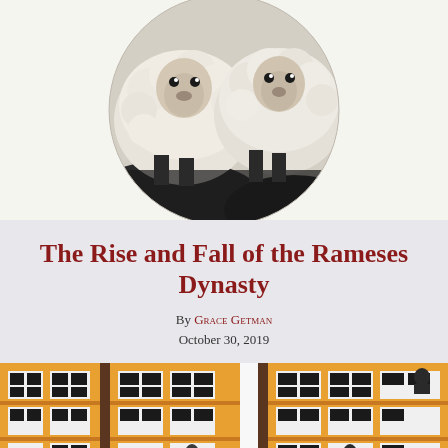[Figure (photo): Black and white circular photo showing two sheep (rams) close together, halftone print style on cream background]
The Rise and Fall of the Rameses Dynasty
By GRACE GETMAN
October 30, 2019
[Figure (illustration): Colorful illustration of building facades with orange/yellow walls, black and white window grid patterns, and small silhouette figures visible in windows]